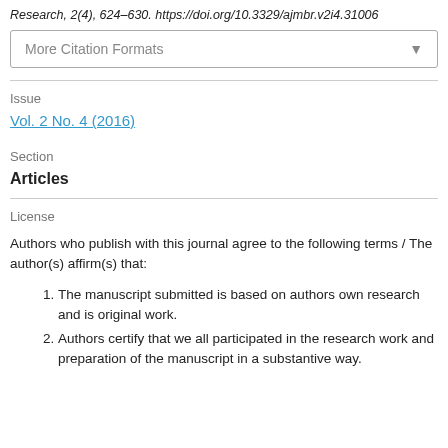Research, 2(4), 624–630. https://doi.org/10.3329/ajmbr.v2i4.31006
More Citation Formats
Issue
Vol. 2 No. 4 (2016)
Section
Articles
License
Authors who publish with this journal agree to the following terms / The author(s) affirm(s) that:
The manuscript submitted is based on authors own research and is original work.
Authors certify that we all participated in the research work and preparation of the manuscript in a substantive way.